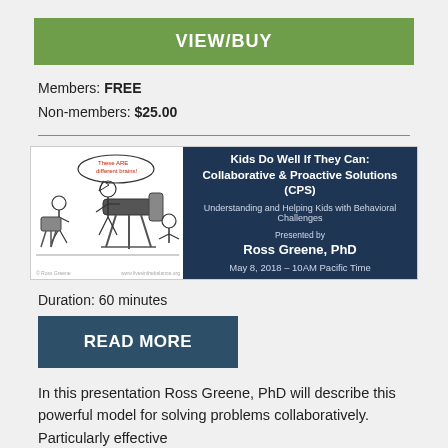VIEW/BUY
Members: FREE
Non-members: $25.00
[Figure (illustration): Webinar banner: cartoon image on left with characters looking through a telescope, dark navy background on right with text: 'Kids Do Well If They Can: Collaborative & Proactive Solutions (CPS), Understanding and Helping Kids with Behavioral Challenges, Presented by Ross Greene, PhD, May 8, 2018 – 10AM Pacific Time']
Duration: 60 minutes
READ MORE
In this presentation Ross Greene, PhD will describe this powerful model for solving problems collaboratively. Particularly effective